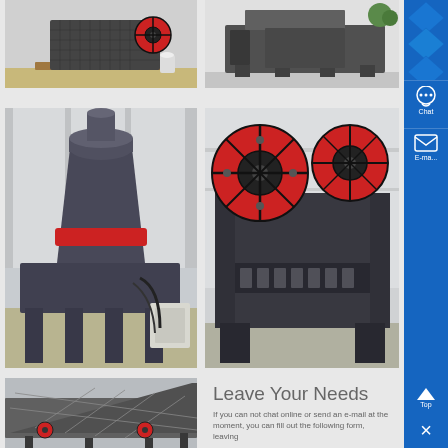[Figure (photo): Industrial jaw crusher machine with red flywheel on wooden pallet in warehouse, top-left photo]
[Figure (photo): Industrial crusher/screen machine in warehouse setting, top-right photo]
[Figure (photo): Large VSI sand making machine with red ring and hydraulic unit in factory floor, middle-left photo]
[Figure (photo): Jaw crusher with large red flywheels in factory, middle-right photo]
[Figure (photo): Vibrating screen machine in factory, bottom-left photo]
Leave Your Needs
If you can not chat online or send an e-mail at the moment, you can fill out the following form, leaving